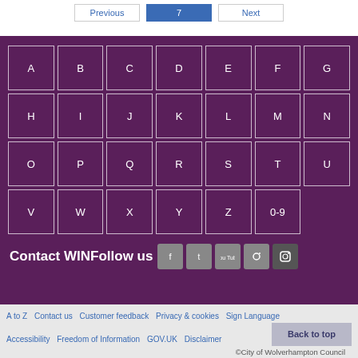Previous  7  Next
[Figure (other): A-Z alphabet grid with letters A through Z and 0-9, displayed as white-bordered cells on a purple background]
Contact WINFollow us
A to Z  Contact us  Customer feedback  Privacy & cookies  Sign Language  Accessibility  Freedom of Information  GOV.UK  Disclaimer  Back to top  ©City of Wolverhampton Council